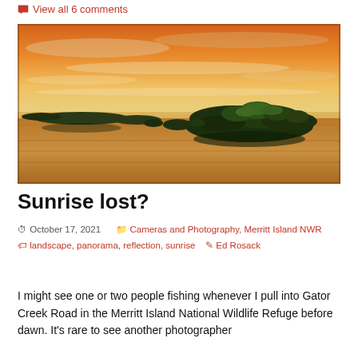View all 6 comments
[Figure (photo): Panoramic landscape photo of a sunrise over a calm water body with mangrove islands silhouetted against an orange and yellow sky with clouds, at Merritt Island National Wildlife Refuge.]
Sunrise lost?
October 17, 2021   Cameras and Photography, Merritt Island NWR   landscape, panorama, reflection, sunrise   Ed Rosack
I might see one or two people fishing whenever I pull into Gator Creek Road in the Merritt Island National Wildlife Refuge before down. It's rare to see another photographer